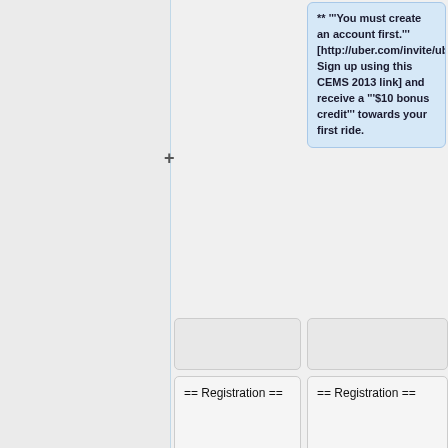** '''You must create an account first.''' [http://uber.com/invite/uberCEMS2013 Sign up using this CEMS 2013 link] and receive a '''$10 bonus credit''' towards your first ride.
== Registration ==
== Registration ==
More information about the
[https://regstg.com/Registration/Registration.as